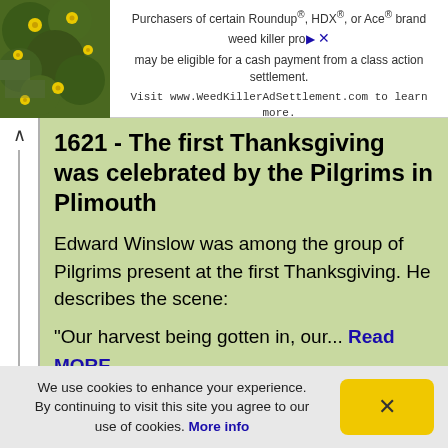[Figure (other): Advertisement banner: photo of yellow flowers on left, text about Roundup/HDX/Ace weed killer class action settlement on right]
1621 - The first Thanksgiving was celebrated by the Pilgrims in Plimouth
Edward Winslow was among the group of Pilgrims present at the first Thanksgiving. He describes the scene:
"Our harvest being gotten in, our... Read MORE...
We use cookies to enhance your experience. By continuing to visit this site you agree to our use of cookies. More info